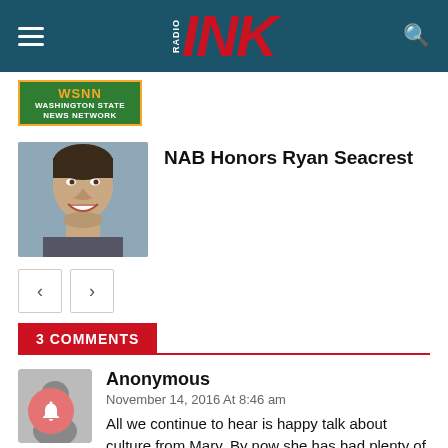RADIO INK
[Figure (logo): WSNN Washington State News Network green badge logo]
[Figure (photo): Headshot of Ryan Seacrest, smiling man with dark hair]
NAB Honors Ryan Seacrest
3 COMMENTS
Anonymous
November 14, 2016 At 8:46 am
All we continue to hear is happy talk about culture from Mary. By now she has had plenty of time to grow revenue and control expenses but these